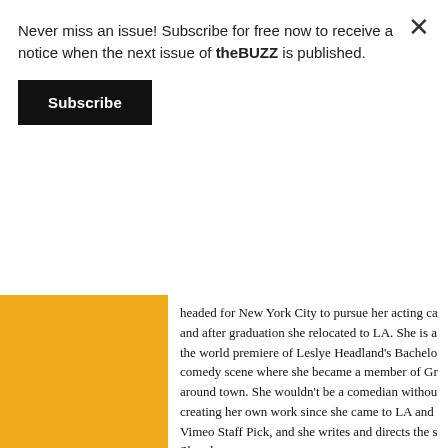Never miss an issue! Subscribe for free now to receive a notice when the next issue of theBUZZ is published.
Subscribe
headed for New York City to pursue her acting ca... and after graduation she relocated to LA. She is a... the world premiere of Leslye Headland's Bachelo... comedy scene where she became a member of Gr... around town. She wouldn't be a comedian withou... creating her own work since she came to LA and ... Vimeo Staff Pick, and she writes and directs the s... Slamdance.
TV/Film: Californication, Outsourced, Key and P... Girl, House of Lies, My Good Man's Gone, Rhett... Poor, Get Up & We're Here Finding The Asshole... The Kids Do, Peen.